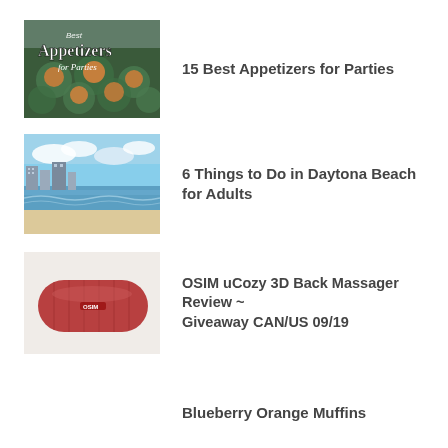[Figure (photo): Food photo showing appetizers with text overlay 'Best Appetizers for Parties']
15 Best Appetizers for Parties
[Figure (photo): Beach photo of Daytona Beach with ocean waves and buildings]
6 Things to Do in Daytona Beach for Adults
[Figure (photo): Photo of OSIM uCozy 3D Back Massager, red/pink colored device]
OSIM uCozy 3D Back Massager Review ~ Giveaway CAN/US 09/19
Blueberry Orange Muffins